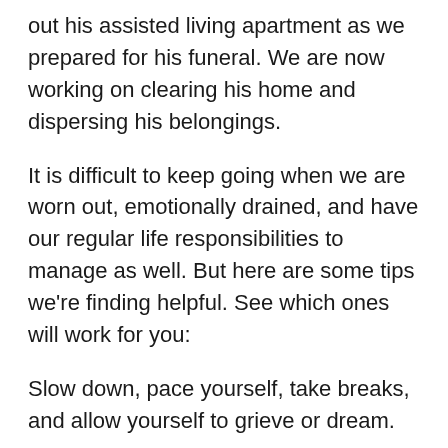out his assisted living apartment as we prepared for his funeral. We are now working on clearing his home and dispersing his belongings.
It is difficult to keep going when we are worn out, emotionally drained, and have our regular life responsibilities to manage as well. But here are some tips we're finding helpful. See which ones will work for you:
Slow down, pace yourself, take breaks, and allow yourself to grieve or dream.
Read the scriptures and encouraging words of hope. Keep a few verses close to you to refer to often.
Ask for help. Some people are afraid to say anything